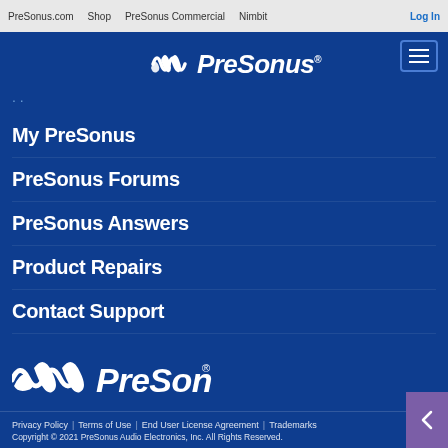PreSonus.com  Shop  PreSonus Commercial  Nimbit  Log In
[Figure (logo): PreSonus logo with waveform mark in white, top center on blue background]
My PreSonus
PreSonus Forums
PreSonus Answers
Product Repairs
Contact Support
[Figure (logo): PreSonus logo with waveform mark in white, larger, bottom section]
Wherever sound takes you.
Privacy Policy  |  Terms of Use  |  End User License Agreement  |  Trademarks  Copyright © 2021 PreSonus Audio Electronics, Inc. All Rights Reserved.